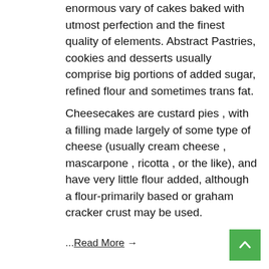enormous vary of cakes baked with utmost perfection and the finest quality of elements. Abstract Pastries, cookies and desserts usually comprise big portions of added sugar, refined flour and sometimes trans fat.
Cheesecakes are custard pies , with a filling made largely of some type of cheese (usually cream cheese , mascarpone , ricotta , or the like), and have very little flour added, although a flour-primarily based or graham cracker crust may be used.
...Read More →